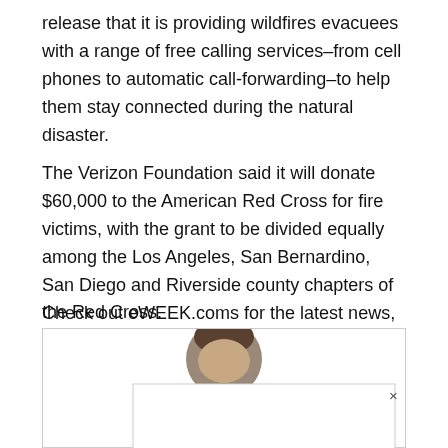release that it is providing wildfires evacuees with a range of free calling services–from cell phones to automatic call-forwarding–to help them stay connected during the natural disaster.
The Verizon Foundation said it will donate $60,000 to the American Red Cross for fire victims, with the grant to be divided equally among the Los Angeles, San Bernardino, San Diego and Riverside county chapters of the Red Cross.
Check out eWEEK.coms for the latest news, reviews and analysis on mobile and wireless computing.
[Figure (photo): A partially visible circular profile photo of a person, shown inside a bordered box with an inner bordered panel and a close (×) button.]